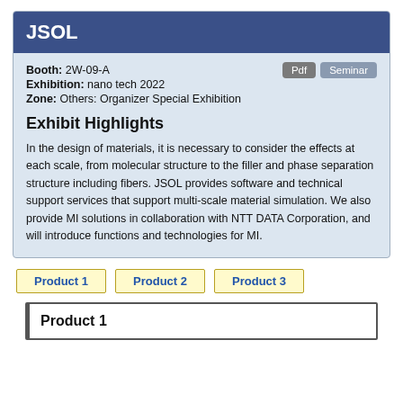JSOL
Booth: 2W-09-A
Exhibition: nano tech 2022
Zone: Others: Organizer Special Exhibition
Exhibit Highlights
In the design of materials, it is necessary to consider the effects at each scale, from molecular structure to the filler and phase separation structure including fibers. JSOL provides software and technical support services that support multi-scale material simulation. We also provide MI solutions in collaboration with NTT DATA Corporation, and will introduce functions and technologies for MI.
Product 1
Product 2
Product 3
Product 1